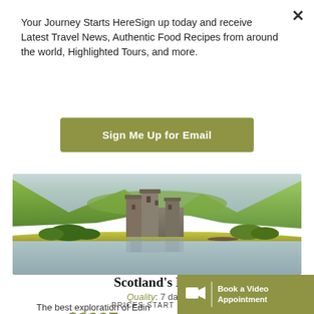Your Journey Starts HereSign up today and receive Latest Travel News, Authentic Food Recipes from around the world, Highlighted Tours, and more.
Sign Me Up for Email
[Figure (photo): Kilchurn Castle ruins reflected in a loch, surrounded by green Scottish highlands and mountains under cloudy sky]
Scotland's Best
Quality: 7 days
PRICES START FROM
$2997
The best exploration of Edin
Book a Video Appointment